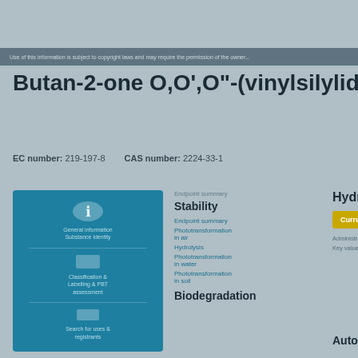Use of this information is subject to copyright laws and may require the permission...
Butan-2-one O,O',O"-(vinylsilylidyne)trioxi...
EC number: 219-197-8   CAS number: 2224-33-1
[Figure (infographic): Blue panel with icons for chemical data navigation including structure, classification & labelling, and search functions]
Endpoint summary
Stability
Endpoint summary
Phototransformation in air
Hydrolysis
Phototransformation in water
Phototransformation in soil
Biodegradation
Hydrolysis
Currently unavailable
Administrative data
Key value for this...
Autoxidati...